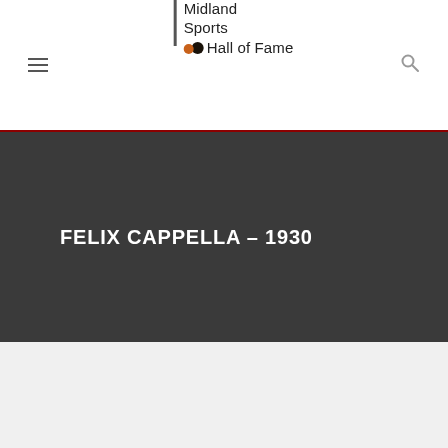Midland Sports Hall of Fame
FELIX CAPPELLA – 1930